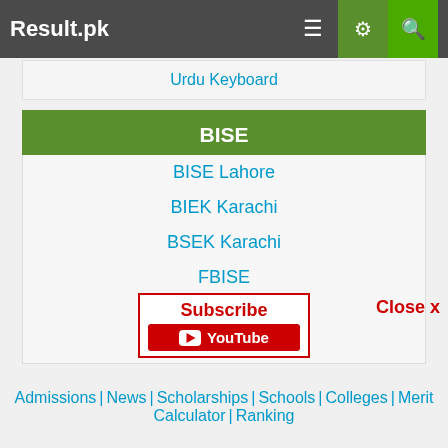Result.pk
Urdu Keyboard
BISE
BISE Lahore
BIEK Karachi
BSEK Karachi
FBISE
BISE RWP
BISE Multan
BISEGRW
BISE FSD
BISE BWP
BISE Sargodha
BISE Sahiwal
BISE DC Khan
Subscribe | YouTube
Close x
Admissions | News | Scholarships | Schools | Colleges | Merit Calculator | Ranking